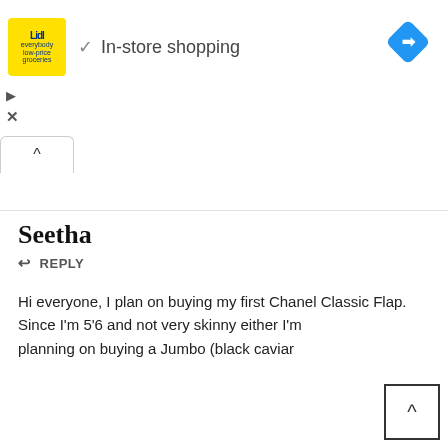[Figure (screenshot): Lidl advertisement banner with yellow logo, green checkmark, 'In-store shopping' text, and blue diamond navigation icon]
In-store shopping
Seetha
↩ REPLY
Hi everyone, I plan on buying my first Chanel Classic Flap.
Since I'm 5'6 and not very skinny either I'm planning on buying a Jumbo (black caviar...